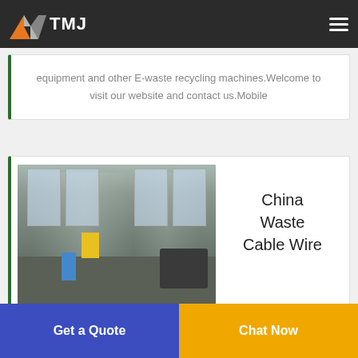TMJ
equipment and other E-waste recycling machines.Welcome to visit our website and contact us.Mobile
[Figure (photo): Factory interior showing workers and machinery, industrial setting for waste cable wire stripping]
China Waste Cable Wire
StripperChina Waste Cable Wire
Get a Quote
Chat Now